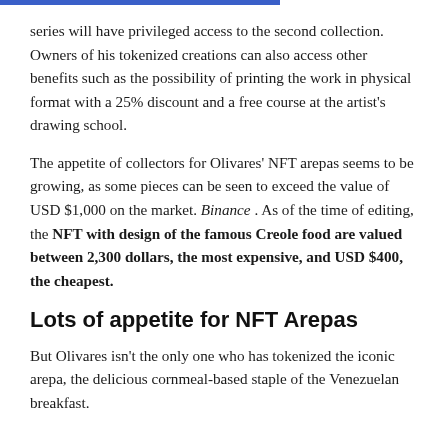series will have privileged access to the second collection. Owners of his tokenized creations can also access other benefits such as the possibility of printing the work in physical format with a 25% discount and a free course at the artist's drawing school.
The appetite of collectors for Olivares' NFT arepas seems to be growing, as some pieces can be seen to exceed the value of USD $1,000 on the market. Binance . As of the time of editing, the NFT with design of the famous Creole food are valued between 2,300 dollars, the most expensive, and USD $400, the cheapest.
Lots of appetite for NFT Arepas
But Olivares isn't the only one who has tokenized the iconic arepa, the delicious cornmeal-based staple of the Venezuelan breakfast.